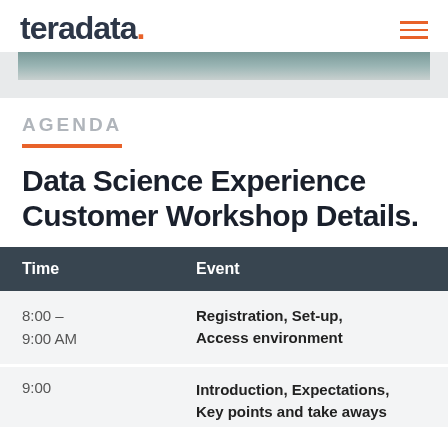teradata.
[Figure (photo): Partial image strip visible at top of page content area]
AGENDA
Data Science Experience Customer Workshop Details.
| Time | Event |
| --- | --- |
| 8:00 – 9:00 AM | Registration, Set-up, Access environment |
| 9:00 | Introduction, Expectations, Key points and take aways |